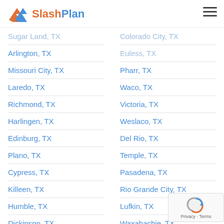[Figure (logo): SlashPlan logo with orange and blue icon and text]
Sugar Land, TX
Arlington, TX
Missouri City, TX
Laredo, TX
Richmond, TX
Harlingen, TX
Edinburg, TX
Plano, TX
Cypress, TX
Killeen, TX
Humble, TX
Dickinson, TX
Colorado City, TX
Euless, TX
Pharr, TX
Waco, TX
Victoria, TX
Weslaco, TX
Del Rio, TX
Temple, TX
Pasadena, TX
Rio Grande City, TX
Lufkin, TX
Waxahachie, TX
Sherman, TX
Red Oak, TX